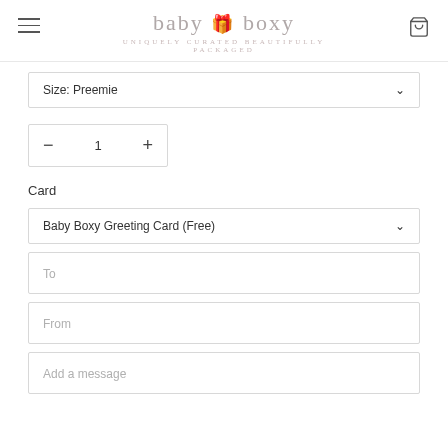baby boxy — UNIQUELY CURATED BEAUTIFULLY PACKAGED
Size: Preemie
1
Card
Baby Boxy Greeting Card (Free)
To
From
Add a message